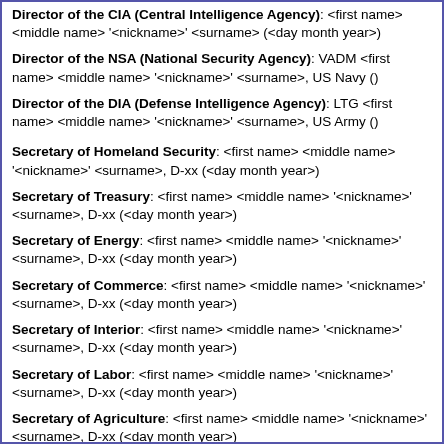Director of the CIA (Central Intelligence Agency): <first name> <middle name> '<nickname>' <surname> (<day month year>)
Director of the NSA (National Security Agency): VADM <first name> <middle name> '<nickname>' <surname>, US Navy ()
Director of the DIA (Defense Intelligence Agency): LTG <first name> <middle name> '<nickname>' <surname>, US Army ()
Secretary of Homeland Security: <first name> <middle name> '<nickname>' <surname>, D-xx (<day month year>)
Secretary of Treasury: <first name> <middle name> '<nickname>' <surname>, D-xx (<day month year>)
Secretary of Energy: <first name> <middle name> '<nickname>' <surname>, D-xx (<day month year>)
Secretary of Commerce: <first name> <middle name> '<nickname>' <surname>, D-xx (<day month year>)
Secretary of Interior: <first name> <middle name> '<nickname>' <surname>, D-xx (<day month year>)
Secretary of Labor: <first name> <middle name> '<nickname>' <surname>, D-xx (<day month year>)
Secretary of Agriculture: <first name> <middle name> '<nickname>' <surname>, D-xx (<day month year>)